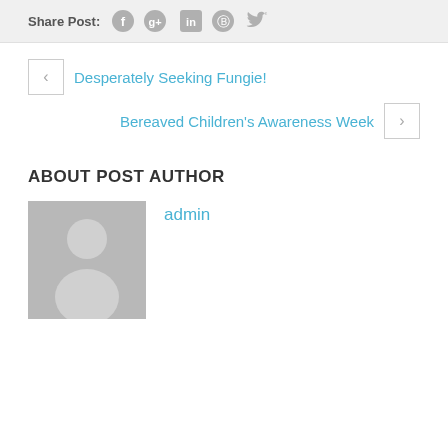Share Post: [social icons: Facebook, Google+, LinkedIn, Pinterest, Twitter]
< Desperately Seeking Fungie!
Bereaved Children’s Awareness Week >
ABOUT POST AUTHOR
[Figure (illustration): Grey placeholder avatar silhouette of a person on a grey background]
admin